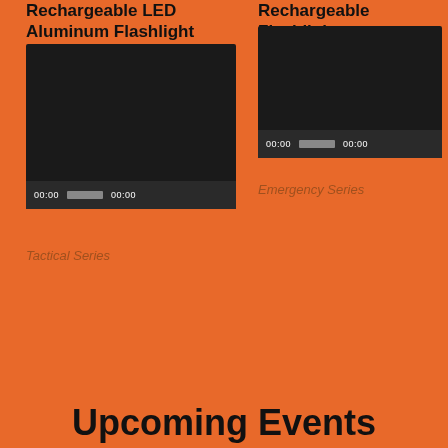Rechargeable LED Aluminum Flashlight
Rechargeable Flashlight
[Figure (screenshot): Video player with dark background and playback controls showing 00:00 time stamps and a grey progress bar]
[Figure (screenshot): Video player with dark background and playback controls showing 00:00 time stamps and a grey progress bar]
Emergency Series
Tactical Series
Upcoming Events